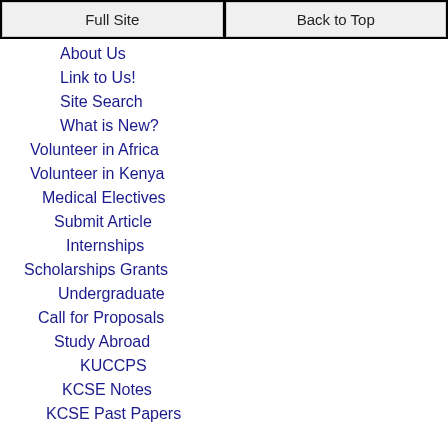Full Site | Back to Top
About Us
Link to Us!
Site Search
What is New?
Volunteer in Africa
Volunteer in Kenya
Medical Electives
Submit Article
Internships
Scholarships Grants
Undergraduate
Call for Proposals
Study Abroad
KUCCPS
KCSE Notes
KCSE Past Papers